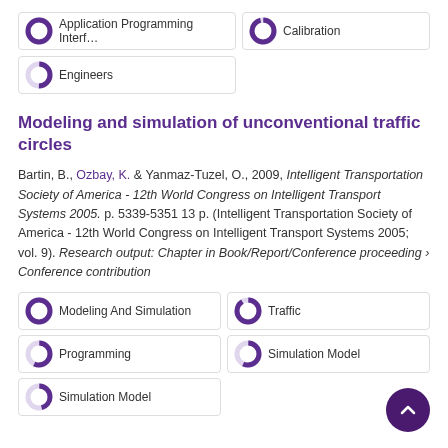100% Application Programming Interface
96% Calibration
50% Engineers
Modeling and simulation of unconventional traffic circles
Bartin, B., Ozbay, K. & Yanmaz-Tuzel, O., 2009, Intelligent Transportation Society of America - 12th World Congress on Intelligent Transport Systems 2005. p. 5339-5351 13 p. (Intelligent Transportation Society of America - 12th World Congress on Intelligent Transport Systems 2005; vol. 9). Research output: Chapter in Book/Report/Conference proceeding › Conference contribution
100% Modeling And Simulation
91% Traffic
57% Programming
57% Simulation Model
46% Simulation Model